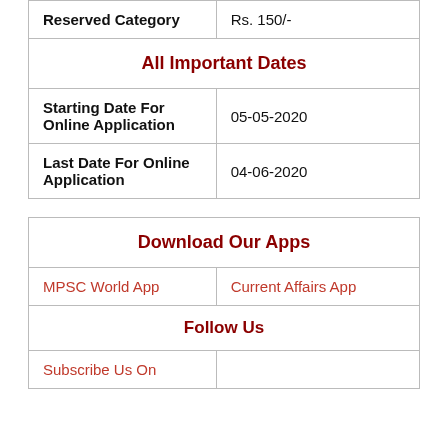| Reserved Category | Rs. 150/- |
| All Important Dates |  |
| Starting Date For Online Application | 05-05-2020 |
| Last Date For Online Application | 04-06-2020 |
| Download Our Apps |  |
| MPSC World App | Current Affairs App |
| Follow Us |  |
| Subscribe Us On |  |